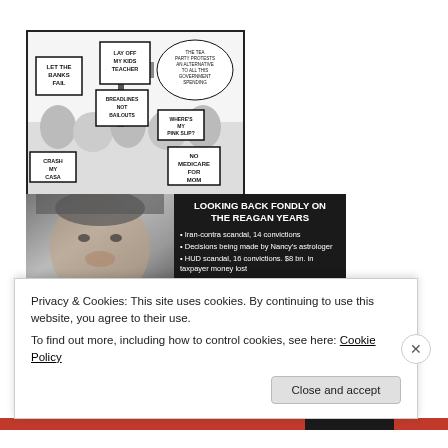[Figure (illustration): A black and white editorial cartoon showing protesters holding signs including: 'Let the Banks Fail', 'Lay Off My Kids Teacher', 'Breadlines Not Bailouts', 'Where's My Pink Slip?', 'No Medicare for Mom', 'Crash My Casa', and a speech bubble saying 'The Tea Party Protests - An Alternative to All This Government Spending'.]
[Figure (infographic): An image with a dark background showing Ronald Reagan's face on the left, and on the right text reading 'LOOKING BACK FONDLY ON THE REAGAN YEARS' with bullet points: Iran-contra scandal, 14 convictions; Decisions being made by Nancy's astrologer; HUD scandal, 16 convictions, $8 bn. in taxpayer money lost; S&L scandal, over $1 trillion in cost to taxpayers.]
Privacy & Cookies: This site uses cookies. By continuing to use this website, you agree to their use.
To find out more, including how to control cookies, see here: Cookie Policy
Close and accept